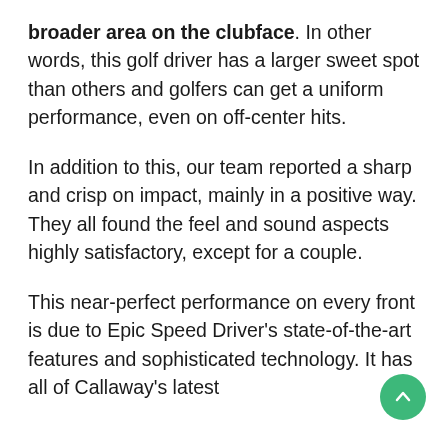broader area on the clubface. In other words, this golf driver has a larger sweet spot than others and golfers can get a uniform performance, even on off-center hits.
In addition to this, our team reported a sharp and crisp on impact, mainly in a positive way. They all found the feel and sound aspects highly satisfactory, except for a couple.
This near-perfect performance on every front is due to Epic Speed Driver's state-of-the-art features and sophisticated technology. It has all of Callaway's latest